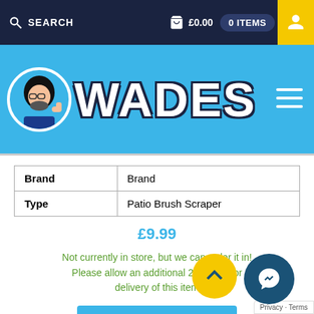SEARCH  £0.00  0 ITEMS
[Figure (logo): Wades logo with mascot character and WADES text on blue background]
| Brand | Brand |
| Type | Patio Brush Scraper |
£9.99
Not currently in store, but we can order it in! Please allow an additional 2–3 days for delivery of this item
ADD TO BASKET
Compare